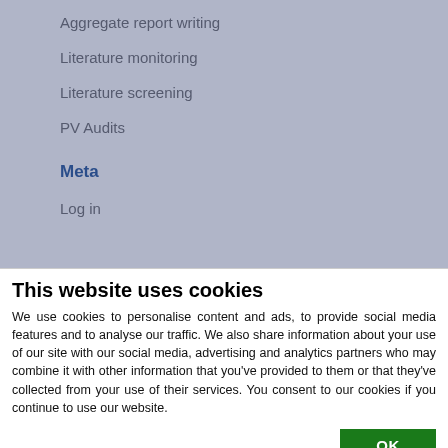Aggregate report writing
Literature monitoring
Literature screening
PV Audits
Meta
Log in
This website uses cookies
We use cookies to personalise content and ads, to provide social media features and to analyse our traffic. We also share information about your use of our site with our social media, advertising and analytics partners who may combine it with other information that you've provided to them or that they've collected from your use of their services. You consent to our cookies if you continue to use our website.
OK
Necessary  Preferences  Statistics  Marketing  Show details